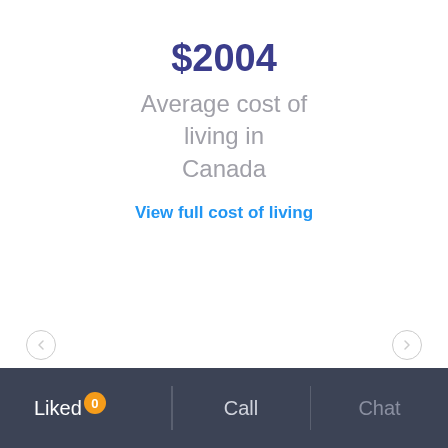$2004
Average cost of living in Canada
View full cost of living
[Figure (other): Video play button — circular gray button with white right-pointing triangle in center]
Liked 0  Call  Chat